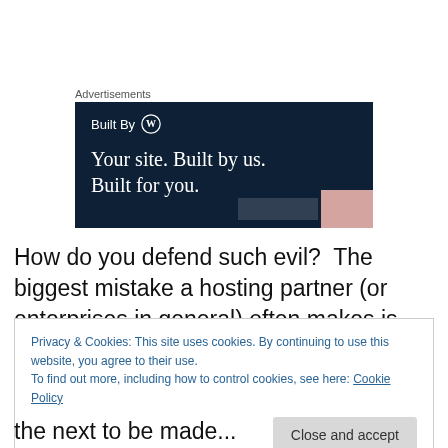Advertisements
[Figure (illustration): WordPress 'Built By' advertisement banner with dark navy background. Text reads 'Built By [WordPress logo]' and 'Your site. Built by us. Built for you.' with a pink thumbnail image in the bottom right corner.]
How do you defend such evil?  The biggest mistake a hosting partner (or enterprises in general) often makes is
Privacy & Cookies: This site uses cookies. By continuing to use this website, you agree to their use.
To find out more, including how to control cookies, see here: Cookie Policy

Close and accept
the next to be made...